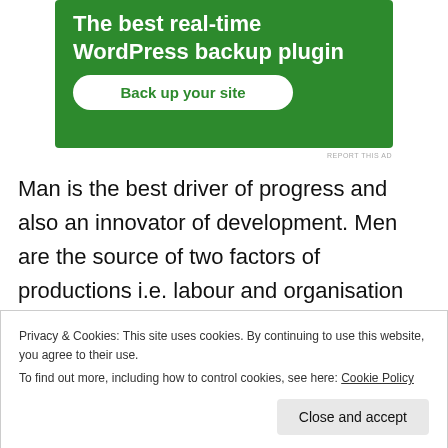[Figure (screenshot): Green advertisement banner for WordPress backup plugin with white text and a white rounded button reading 'Back up your site']
REPORT THIS AD
Man is the best driver of progress and also an innovator of development. Men are the source of two factors of productions i.e. labour and organisation among four other factors. Men can also plan well to organise other factors
Privacy & Cookies: This site uses cookies. By continuing to use this website, you agree to their use.
To find out more, including how to control cookies, see here: Cookie Policy
Close and accept